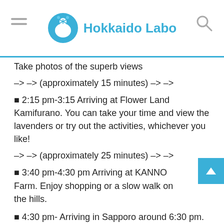Hokkaido Labo
Take photos of the superb views
–> –> (approximately 15 minutes) –> –>
■ 2:15 pm-3:15 Arriving at Flower Land Kamifurano. You can take your time and view the lavenders or try out the activities, whichever you like!
–> –> (approximately 25 minutes) –> –>
■ 3:40 pm-4:30 pm Arriving at KANNO Farm. Enjoy shopping or a slow walk on the hills.
■ 4:30 pm- Arriving in Sapporo around 6:30 pm.